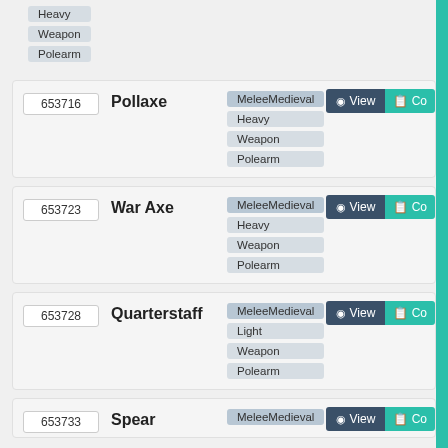Heavy / Weapon / Polearm (partial top row, no ID visible)
653716 Pollaxe — MeleeMedieval, Heavy, Weapon, Polearm
653723 War Axe — MeleeMedieval, Heavy, Weapon, Polearm
653728 Quarterstaff — MeleeMedieval, Light, Weapon, Polearm
653733 Spear — MeleeMedieval (partial bottom row)